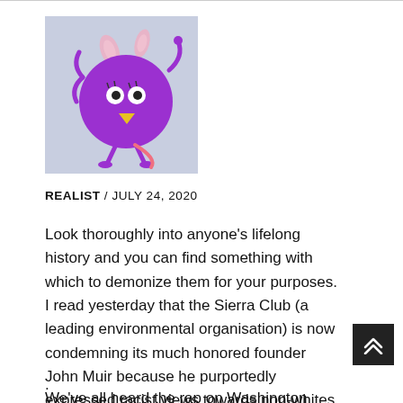[Figure (illustration): A cartoon purple round creature with cat/mouse ears, white eyes with black pupils, a yellow beak/mouth, thin arms and legs, and a pink tail, on a light blue-grey background.]
REALIST / JULY 24, 2020
Look thoroughly into anyone's lifelong history and you can find something with which to demonize them for your purposes. I read yesterday that the Sierra Club (a leading environmental organisation) is now condemning its much honored founder John Muir because he purportedly expressed racist views towards non-whites.
.
We've all heard the rap on Washington